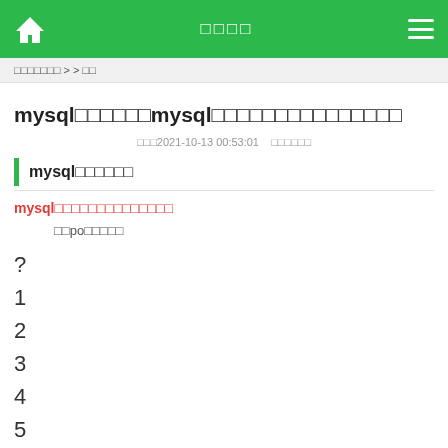□□□□
□□□□□□□ > > □□
mysql□□□□□□mysql□□□□□□□□□□□□□□□
□□□2021-10-13 00:53:01   □□□□□□
mysql□□□□□□
mysql□□□□□□□□□□□□□□
□□po□□□□□
?
1
2
3
4
5
6